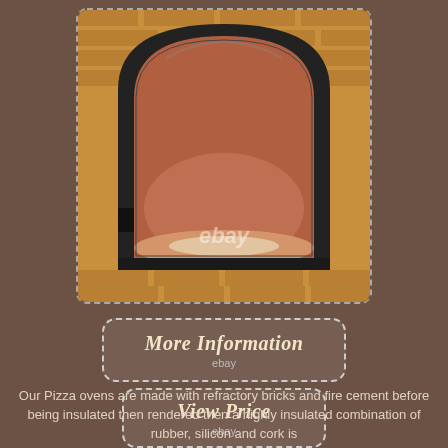[Figure (photo): Photo of a wood-fired pizza oven with an arched black cast iron door frame, showing the interior brick oven chamber with a clay dome/floor, set into a stone/brick exterior surround. eBay watermark visible.]
[Figure (other): Button with dashed border reading 'More Information' with 'ebay' subtitle]
[Figure (other): Button with dashed border reading 'View Price' with 'ebay' subtitle]
Our Pizza ovens are made with refractory bricks and fire cement before being insulated then rendered then a highly insulated combination of rubber, silicon and cork is